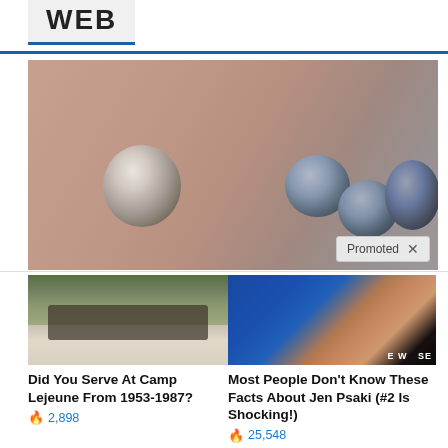WEB
[Figure (photo): Close-up photo of pills/tablets on a surface, including a partially-broken white/grey pill and several blue round pills with markings]
Promoted X
[Figure (photo): Military soldiers on a boat in water]
Did You Serve At Camp Lejeune From 1953-1987?
2,898
[Figure (photo): Woman with red hair speaking at a podium in front of a building (Jen Psaki at White House)]
Most People Don't Know These Facts About Jen Psaki (#2 Is Shocking!)
25,548